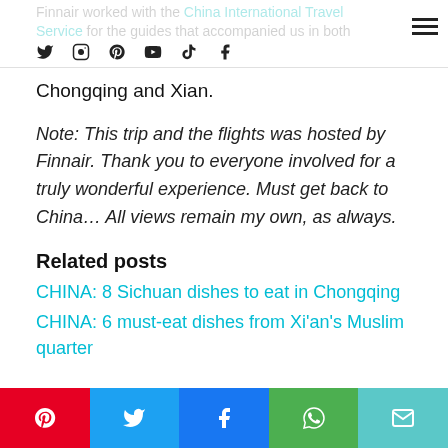Finnair worked with the China International Travel Service for the guides that accompanied us in both Chongqing and Xian.
Chongqing and Xian.
Note: This trip and the flights was hosted by Finnair. Thank you to everyone involved for a truly wonderful experience. Must get back to China… All views remain my own, as always.
Related posts
CHINA: 8 Sichuan dishes to eat in Chongqing
CHINA: 6 must-eat dishes from Xi'an's Muslim quarter
Share buttons: Pinterest, Twitter, Facebook, WhatsApp, Email